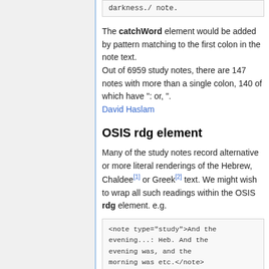darkness./ note.
The catchWord element would be added by pattern matching to the first colon in the note text.
Out of 6959 study notes, there are 147 notes with more than a single colon, 140 of which have ": or, ".
David Haslam
OSIS rdg element
Many of the study notes record alternative or more literal renderings of the Hebrew, Chaldee[1] or Greek[2] text. We might wish to wrap all such readings within the OSIS rdg element. e.g.
<note type="study">And the evening...: Heb. And the evening was, and the morning was etc.</note>